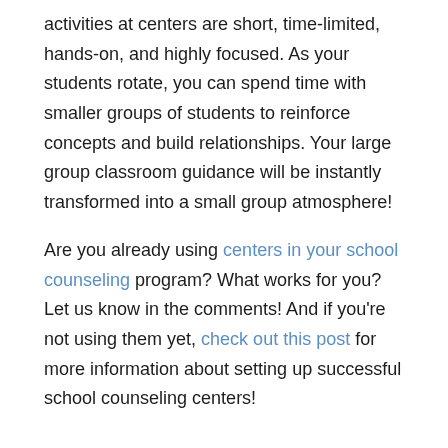activities at centers are short, time-limited, hands-on, and highly focused. As your students rotate, you can spend time with smaller groups of students to reinforce concepts and build relationships. Your large group classroom guidance will be instantly transformed into a small group atmosphere!
Are you already using centers in your school counseling program? What works for you? Let us know in the comments! And if you're not using them yet, check out this post for more information about setting up successful school counseling centers!